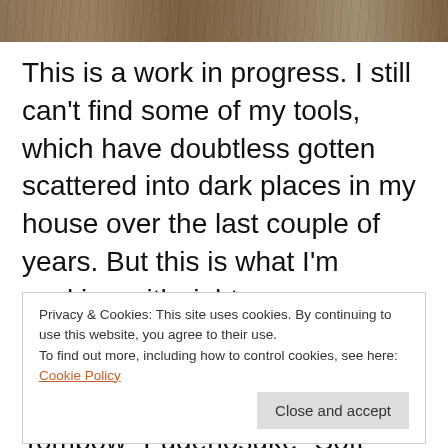[Figure (photo): Wood grain texture background image at top of page]
This is a work in progress. I still can't find some of my tools, which have doubtless gotten scattered into dark places in my house over the last couple of years. But this is what I'm working with right now.
Maxpedition Fatty Pocket Organizer (link)
Tombow “Fudenosuke” Soft Brush Pen
Privacy & Cookies: This site uses cookies. By continuing to use this website, you agree to their use.
To find out more, including how to control cookies, see here:
Cookie Policy
Close and accept